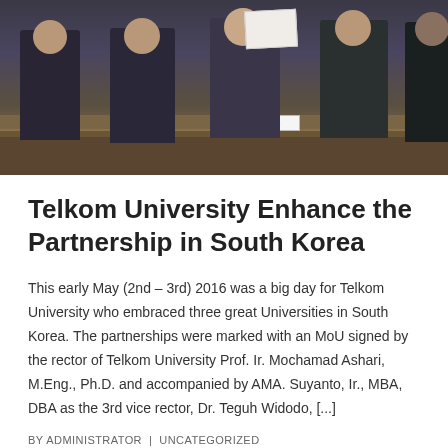[Figure (photo): Group photo of officials seated at a conference table holding a signed MOU document, with name placards visible on the table]
Telkom University Enhance the Partnership in South Korea
This early May (2nd – 3rd) 2016 was a big day for Telkom University who embraced three great Universities in South Korea. The partnerships were marked with an MoU signed by the rector of Telkom University Prof. Ir. Mochamad Ashari, M.Eng., Ph.D. and accompanied by AMA. Suyanto, Ir., MBA, DBA as the 3rd vice rector, Dr. Teguh Widodo, [...]
BY ADMINISTRATOR | UNCATEGORIZED
DETAIL >